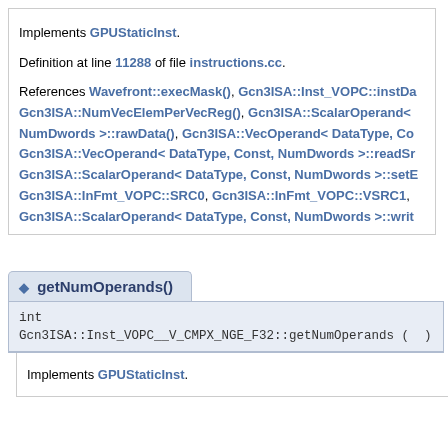Implements GPUStaticInst.
Definition at line 11288 of file instructions.cc.
References Wavefront::execMask(), Gcn3ISA::Inst_VOPC::instDa Gcn3ISA::NumVecElemPerVecReg(), Gcn3ISA::ScalarOperand< NumDwords >::rawData(), Gcn3ISA::VecOperand< DataType, Co Gcn3ISA::VecOperand< DataType, Const, NumDwords >::readSr Gcn3ISA::ScalarOperand< DataType, Const, NumDwords >::setE Gcn3ISA::InFmt_VOPC::SRC0, Gcn3ISA::InFmt_VOPC::VSRC1, Gcn3ISA::ScalarOperand< DataType, Const, NumDwords >::writ
getNumOperands()
int
Gcn3ISA::Inst_VOPC__V_CMPX_NGE_F32::getNumOperands ( )
Implements GPUStaticInst.